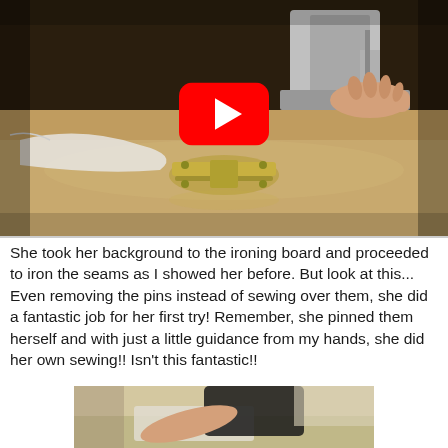[Figure (screenshot): Video thumbnail showing a sewing machine in use on a table with a metal hinge visible in the foreground, with a YouTube play button overlay in the center.]
She took her background to the ironing board and proceeded to iron the seams as I showed her before.  But look at this... Even removing the pins instead of sewing over them, she did a fantastic job for her first try!  Remember, she pinned them herself and with just a little guidance from my hands, she did her own sewing!!  Isn't this fantastic!!
[Figure (photo): Photo of a young girl in a black top working with fabric at what appears to be an ironing board or table.]